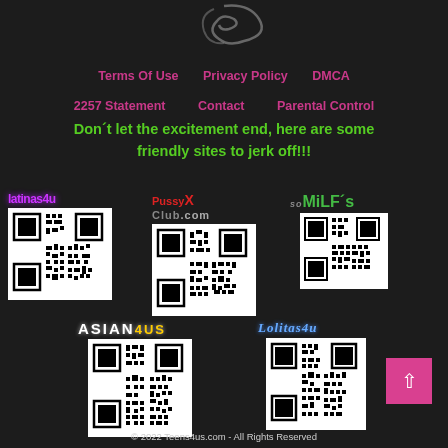[Figure (logo): Website logo at top center]
Terms Of Use   Privacy Policy   DMCA
2257 Statement   Contact   Parental Control
Don´t let the excitement end, here are some friendly sites to jerk off!!!
[Figure (logo): Latinas4u logo with QR code]
[Figure (logo): PussyXClub.com logo with QR code]
[Figure (logo): SoMILF´s logo with QR code]
[Figure (logo): ASIAN4US logo with QR code]
[Figure (logo): Lolitas4u logo with QR code]
© 2022 Teens4us.com - All Rights Reserved